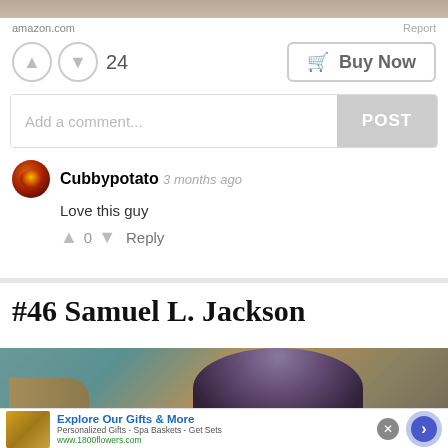[Figure (photo): Top image strip showing partial photo]
amazon.com
Report
24
Buy Now
Add a comment...
POST
Cubbypotato  3 months ago
Love this guy
0  Reply
#46 Samuel L. Jackson
[Figure (photo): Photo strip of person with curly hair]
[Figure (infographic): Advertisement banner: Explore Our Gifts & More - Personalized Gifts - Spa Baskets - Get Sets - www.1800flowers.com]